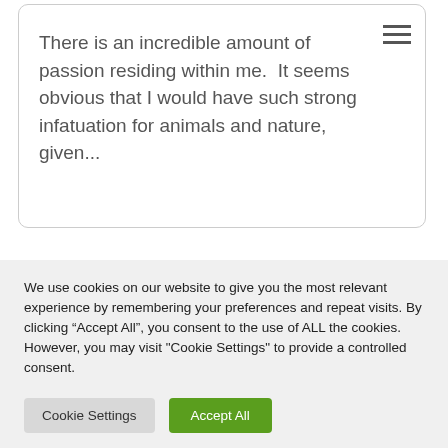There is an incredible amount of passion residing within me.  It seems obvious that I would have such strong infatuation for animals and nature, given...
We use cookies on our website to give you the most relevant experience by remembering your preferences and repeat visits. By clicking “Accept All”, you consent to the use of ALL the cookies. However, you may visit "Cookie Settings" to provide a controlled consent.